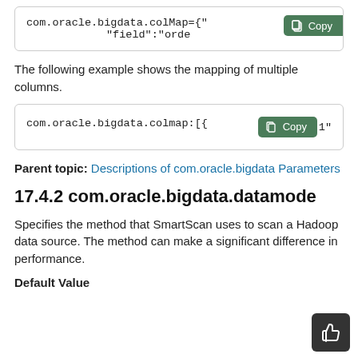[Figure (screenshot): Code block showing: com.oracle.bigdata.colMap={" with a green Copy button, and second line: "field":"orde]
The following example shows the mapping of multiple columns.
[Figure (screenshot): Code block showing: com.oracle.bigdata.colmap:[{ with a green Copy button, and partial text 1"]
Parent topic: Descriptions of com.oracle.bigdata Parameters
17.4.2 com.oracle.bigdata.datamode
Specifies the method that SmartScan uses to scan a Hadoop data source. The method can make a significant difference in performance.
Default Value